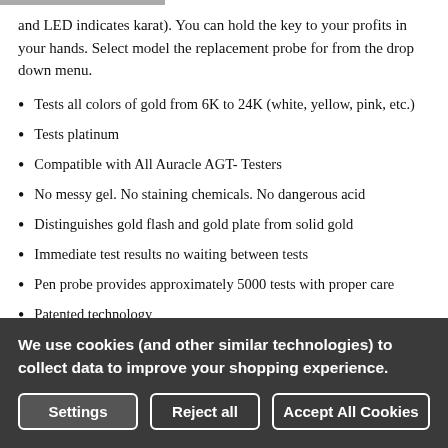and LED indicates karat). You can hold the key to your profits in your hands. Select model the replacement probe for from the drop down menu.
Tests all colors of gold from 6K to 24K (white, yellow, pink, etc.)
Tests platinum
Compatible with All Auracle AGT- Testers
No messy gel. No staining chemicals. No dangerous acid
Distinguishes gold flash and gold plate from solid gold
Immediate test results no waiting between tests
Pen probe provides approximately 5000 tests with proper care
Patented technology
Test in as little as two seconds
Product size 5.5" X 0.8" X 0.7" Inches (138 X 20 X 17mm) Cord measures 15.5" inches long
We use cookies (and other similar technologies) to collect data to improve your shopping experience.
Settings | Reject all | Accept All Cookies